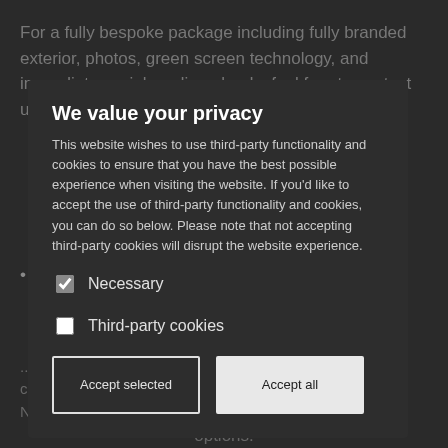For a fully bespoke package including fully branded exterior, photos, green screen technology, and immediate social media uploads, feel free to contact us directly.
[Figure (screenshot): Cookie consent modal overlay on a dark background webpage. The modal contains a title 'We value your privacy', descriptive text about third-party cookies, two checkboxes ('Necessary' checked, 'Third-party cookies' unchecked), and two buttons: 'Accept selected' (outline style) and 'Accept all' (filled white style). The background shows dimmed webpage content about bespoke packages and deposits.]
We value your privacy
This website wishes to use third-party functionality and cookies to ensure that you have the best possible experience when visiting the website. If you'd like to accept the use of third-party functionality and cookies, you can do so below. Please note that not accepting third-party cookies will disrupt the website experience.
Necessary
Third-party cookies
Accept selected
Accept all